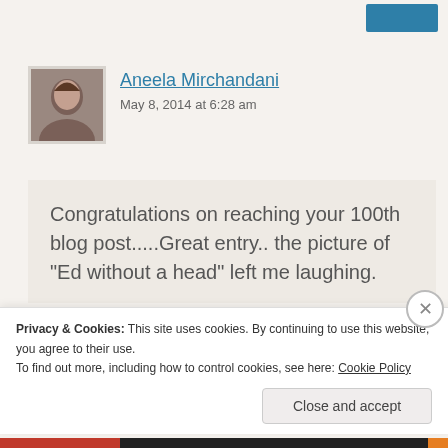[Figure (photo): Profile photo of Aneela Mirchandani, a woman with dark hair]
Aneela Mirchandani
May 8, 2014 at 6:28 am
Congratulations on reaching your 100th blog post.....Great entry.. the picture of “Ed without a head” left me laughing.
Like
Privacy & Cookies: This site uses cookies. By continuing to use this website, you agree to their use.
To find out more, including how to control cookies, see here: Cookie Policy
Close and accept